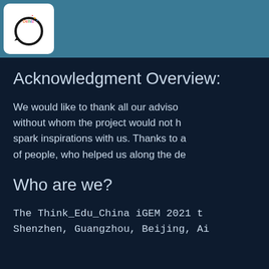[Figure (logo): DehiEdu circular logo with colorful text and a dark circular arrow on white background]
Acknowledgment Overview:
We would like to thank all our advisors, without whom the project would not have happened, and those who spark inspirations with us. Thanks to all of people, who helped us along the de…
Who are we?
The Think_Edu_China iGEM 2021 t… Shenzhen, Guangzhou, Beijing, Ai…